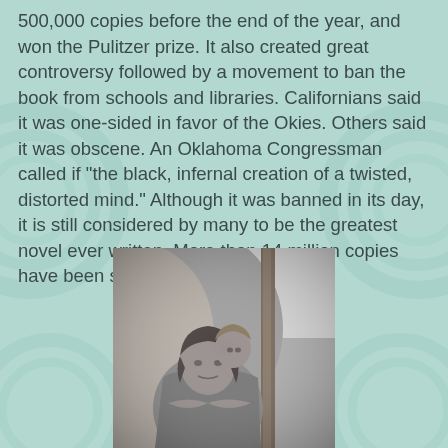500,000 copies before the end of the year, and won the Pulitzer prize. It also created great controversy followed by a movement to ban the book from schools and libraries. Californians said it was one-sided in favor of the Okies. Others said it was obscene. An Oklahoma Congressman called if "the black, infernal creation of a twisted, distorted mind." Although it was banned in its day, it is still considered by many to be the greatest novel ever written. More than 14 million copies have been sold.
[Figure (photo): Black and white historical photograph of a woman and child leaning against a tent pole, appearing weary and destitute, reminiscent of Dorothea Lange's Migrant Mother photograph from the Great Depression era.]